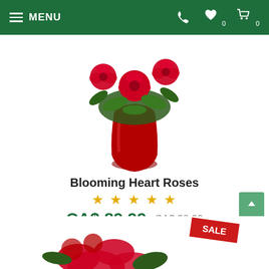MENU | phone | wishlist 0 | cart 0
[Figure (photo): Red roses bouquet in a red metallic vase, partially cropped at top]
Blooming Heart Roses
★ ★ ★ ★ ★ (5 star rating)
CA$ 89.99  CA$ 98.99
ADD TO CART
[Figure (photo): Partial view of another red roses product at the bottom with a SALE badge]